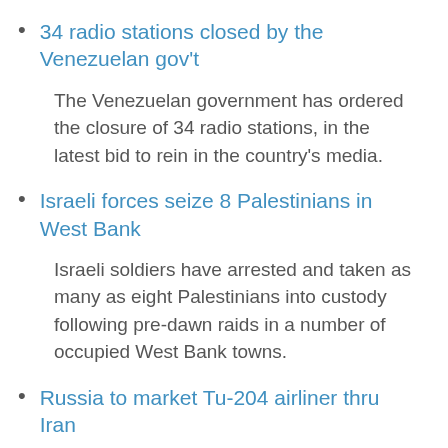34 radio stations closed by the Venezuelan gov't
The Venezuelan government has ordered the closure of 34 radio stations, in the latest bid to rein in the country's media.
Israeli forces seize 8 Palestinians in West Bank
Israeli soldiers have arrested and taken as many as eight Palestinians into custody following pre-dawn raids in a number of occupied West Bank towns.
Russia to market Tu-204 airliner thru Iran
A Russian official says selling Tupolev passenger planes to Tehran is an important step to introduce the product to other countries for further export.
US Congress aims at Wall Street paycheck
The US congress has passed legislation aimed at